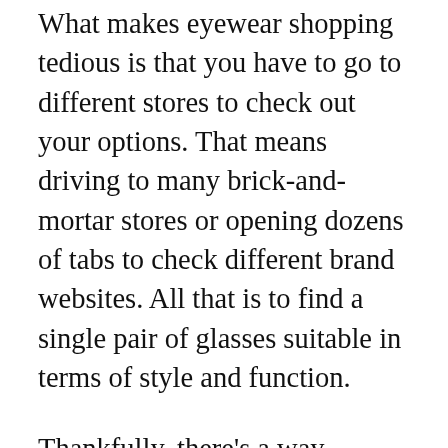What makes eyewear shopping tedious is that you have to go to different stores to check out your options. That means driving to many brick-and-mortar stores or opening dozens of tabs to check different brand websites. All that is to find a single pair of glasses suitable in terms of style and function.
Thankfully, there's a way around this: Eyeconic. This online retailer takes different eyewear options (from luxury to everyday brands) and puts them all on one website. Eyeglasses, contacts, shades—you name it, they've got it.